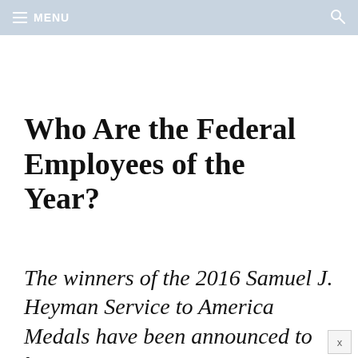MENU
Who Are the Federal Employees of the Year?
The winners of the 2016 Samuel J. Heyman Service to America Medals have been announced to honor